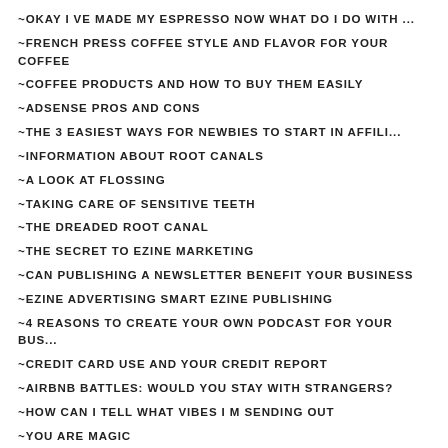~OKAY I VE MADE MY ESPRESSO NOW WHAT DO I DO WITH ...
~FRENCH PRESS COFFEE STYLE AND FLAVOR FOR YOUR COFFEE
~COFFEE PRODUCTS AND HOW TO BUY THEM EASILY
~ADSENSE PROS AND CONS
~THE 3 EASIEST WAYS FOR NEWBIES TO START IN AFFILI...
~INFORMATION ABOUT ROOT CANALS
~A LOOK AT FLOSSING
~TAKING CARE OF SENSITIVE TEETH
~THE DREADED ROOT CANAL
~THE SECRET TO EZINE MARKETING
~CAN PUBLISHING A NEWSLETTER BENEFIT YOUR BUSINESS
~EZINE ADVERTISING SMART EZINE PUBLISHING
~4 REASONS TO CREATE YOUR OWN PODCAST FOR YOUR BUS...
~CREDIT CARD USE AND YOUR CREDIT REPORT
~AIRBNB BATTLES: WOULD YOU STAY WITH STRANGERS?
~HOW CAN I TELL WHAT VIBES I M SENDING OUT
~YOU ARE MAGIC